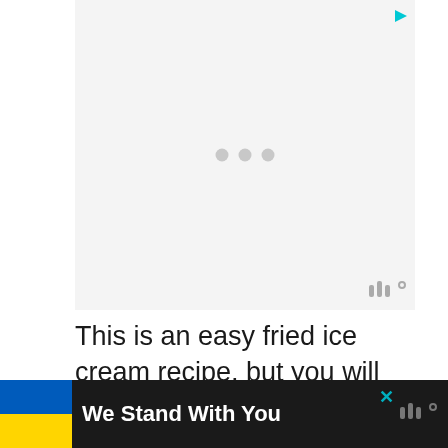[Figure (other): Advertisement placeholder box with light gray background, three gray loading dots in the center, a cyan play/ad icon in the top right corner, and a Moat watermark logo in the bottom right corner.]
This is an easy fried ice cream recipe, but you will have to do it in
[Figure (other): Dark banner advertisement at the bottom of the page showing a Ukrainian flag on the left and the text 'We Stand With You' in white bold text. An X close button and a Moat logo are on the right side.]